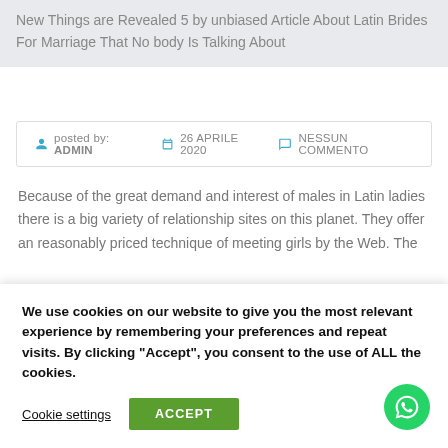New Things are Revealed 5 by unbiased Article About Latin Brides For Marriage That No body Is Talking About
posted by: ADMIN  26 APRILE 2020  NESSUN COMMENTO
Because of the great demand and interest of males in Latin ladies there is a big variety of relationship sites on this planet. They offer an reasonably priced technique of meeting girls by the Web. The
We use cookies on our website to give you the most relevant experience by remembering your preferences and repeat visits. By clicking "Accept", you consent to the use of ALL the cookies.
Cookie settings  ACCEPT